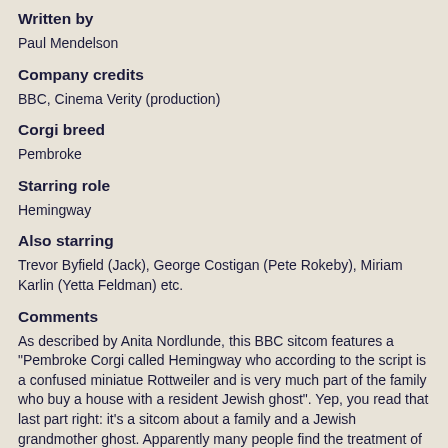Written by
Paul Mendelson
Company credits
BBC, Cinema Verity (production)
Corgi breed
Pembroke
Starring role
Hemingway
Also starring
Trevor Byfield (Jack), George Costigan (Pete Rokeby), Miriam Karlin (Yetta Feldman) etc.
Comments
As described by Anita Nordlunde, this BBC sitcom features a "Pembroke Corgi called Hemingway who according to the script is a confused miniatue Rottweiler and is very much part of the family who buy a house with a resident Jewish ghost". Yep, you read that last part right: it's a sitcom about a family and a Jewish grandmother ghost. Apparently many people find the treatment of an old Jewish woman to be rather stereotypical and the show